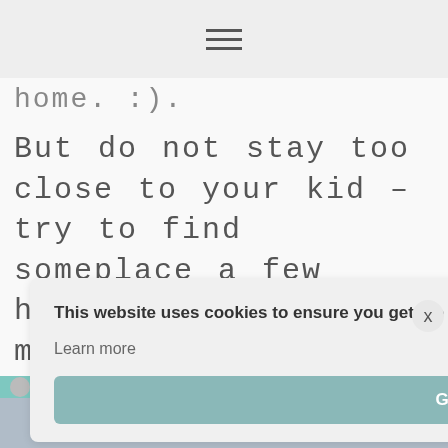home. :).
But do not stay too close to your kid – try to find someplace a few hours away (or more). Because trust me
e –
you
ong
[Figure (screenshot): Cookie consent overlay with text: 'This website uses cookies to ensure you get the best experience on our website. Learn more' and a 'Got it!' button]
Social share bar with Pinterest, Facebook, Twitter, SMS, and email icons